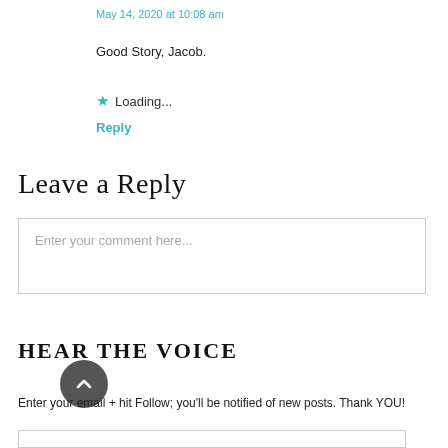May 14, 2020 at 10:08 am
Good Story, Jacob.
★ Loading...
Reply
Leave a Reply
Enter your comment here...
HEAR THE VOICE
Enter your email + hit Follow; you'll be notified of new posts. Thank YOU!